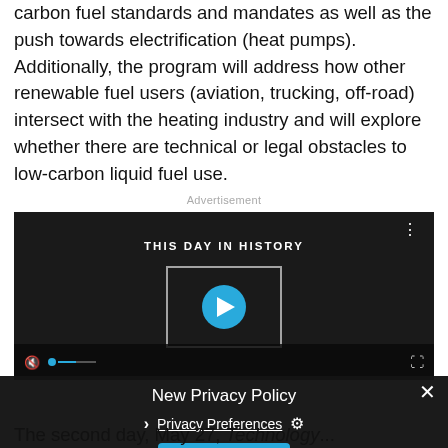carbon fuel standards and mandates as well as the push towards electrification (heat pumps). Additionally, the program will address how other renewable fuel users (aviation, trucking, off-road) intersect with the heating industry and will explore whether there are technical or legal obstacles to low-carbon liquid fuel use.
Advertisement
[Figure (screenshot): Video player showing 'THIS DAY IN HISTORY' with a play button overlay and video controls at the bottom.]
New Privacy Policy
Privacy Preferences
I Agree
The second day, May 27, Technology...